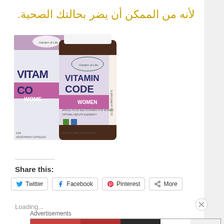لأنه من الممكن أن يضر بحالتك الصحية.
[Figure (photo): Garden of Life Vitamin Code Women supplement box and bottle, pink and white packaging]
Share this:
Twitter
Facebook
Pinterest
More
Loading...
Advertisements
[Figure (photo): ULTA Beauty advertisement banner showing makeup and beauty products with SHOP NOW call to action]